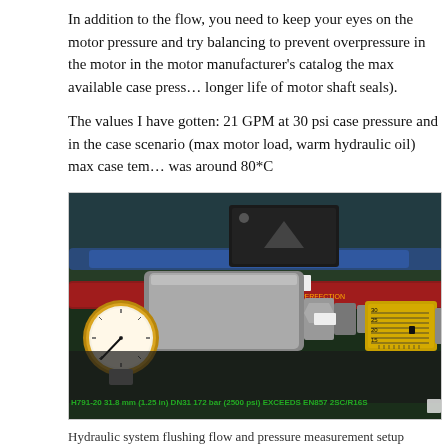In addition to the flow, you need to keep your eyes on the motor pressure and try balancing to prevent overpressure in the motor in the motor manufacturer's catalog the max available case pressure longer life of motor shaft seals).
The values I have gotten: 21 GPM at 30 psi case pressure and in the case scenario (max motor load, warm hydraulic oil) max case temperature was around 80*C
[Figure (photo): Photo of hydraulic system components including a pressure gauge on the left, hydraulic hoses and fittings in the center, and a yellow flow meter on the right. A red hydraulic hose runs across the middle. The bottom of the image shows a green hose labeled: H791-20 31.8 mm (1.25 in) DN31 172 bar (2500 psi) EXCEEDS EN857 2SC/R16S]
Hydraulic system flushing flow and pressure measurement setup